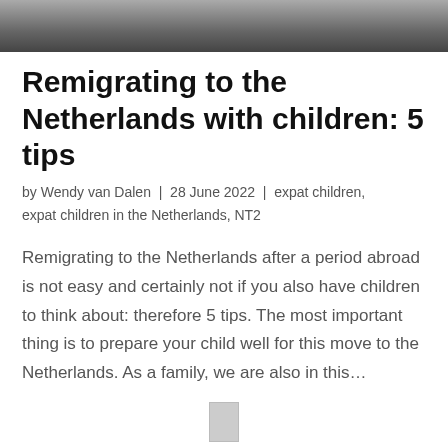[Figure (photo): Black and white photo strip at top of page, showing partial figures]
Remigrating to the Netherlands with children: 5 tips
by Wendy van Dalen | 28 June 2022 | expat children, expat children in the Netherlands, NT2
Remigrating to the Netherlands after a period abroad is not easy and certainly not if you also have children to think about: therefore 5 tips. The most important thing is to prepare your child well for this move to the Netherlands. As a family, we are also in this...
[Figure (photo): Small thumbnail image at bottom center of page]